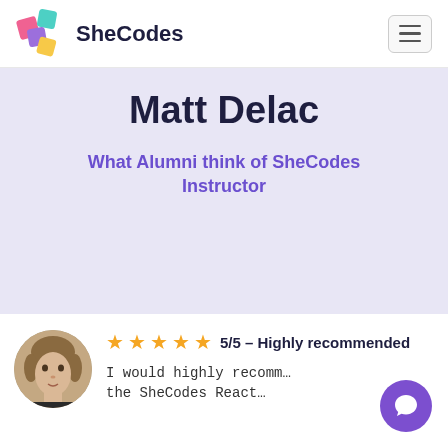SheCodes
Matt Delac
What Alumni think of SheCodes Instructor
[Figure (photo): Circular profile photo of a reviewer with short light-brown hair]
5/5 - Highly recommended
I would highly recomme... the SheCodes React...